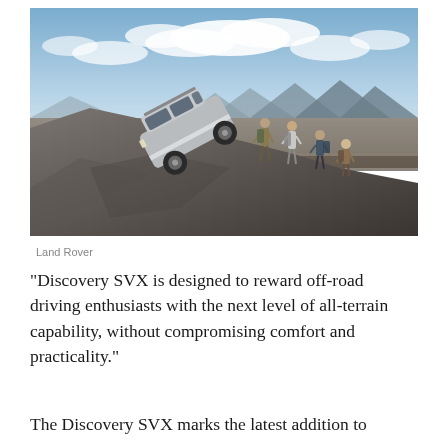[Figure (photo): A silver Land Rover Discovery SVX driving on a rocky cliff edge at a steep angle, with four hikers with backpacks walking along the rocky ridge below. A vast flat desert plain and mountains are visible in the background under a partly cloudy sky.]
Land Rover
“Discovery SVX is designed to reward off-road driving enthusiasts with the next level of all-terrain capability, without compromising comfort and practicality.”
The Discovery SVX marks the latest addition to